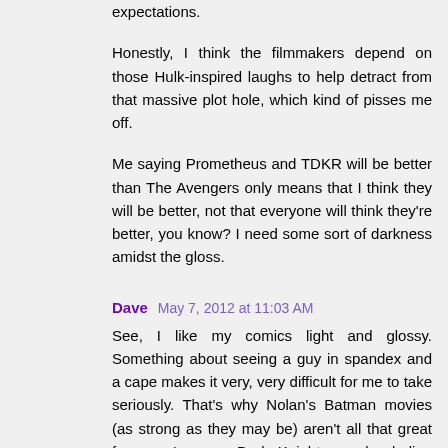expectations.
Honestly, I think the filmmakers depend on those Hulk-inspired laughs to help detract from that massive plot hole, which kind of pisses me off.
Me saying Prometheus and TDKR will be better than The Avengers only means that I think they will be better, not that everyone will think they're better, you know? I need some sort of darkness amidst the gloss.
Dave  May 7, 2012 at 11:03 AM
See, I like my comics light and glossy. Something about seeing a guy in spandex and a cape makes it very, very difficult for me to take seriously. That's why Nolan's Batman movies (as strong as they may be) aren't all that great for me. I mean, Dark Knight was borderline depressing at times! lol